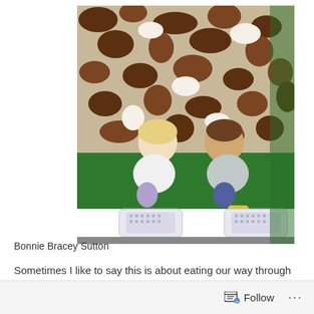[Figure (photo): Two young children sitting on step stools in front of a cow-print fabric backdrop with green flooring, appearing to interact with a model or display. One child wears yellow boots.]
Bonnie Bracey Sutton
Sometimes I like to say this is about eating our way through Geography and History..children can be motivated by what they are interested in. Food is usually an interest.
Follow ...